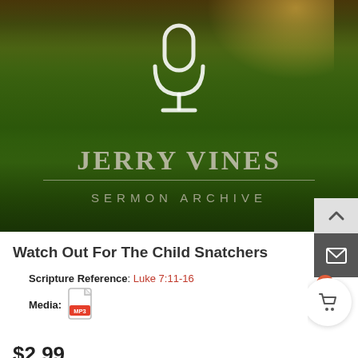[Figure (photo): Hero banner image showing a green lawn/field with trees in background, warm sunlight glow top-right, white microphone icon centered, overlaid with 'JERRY VINES' in large serif text and 'SERMON ARCHIVE' below, white underline between the two text lines.]
Watch Out For The Child Snatchers
Scripture Reference: Luke 7:11-16
Media: [MP3 icon]
$2.99